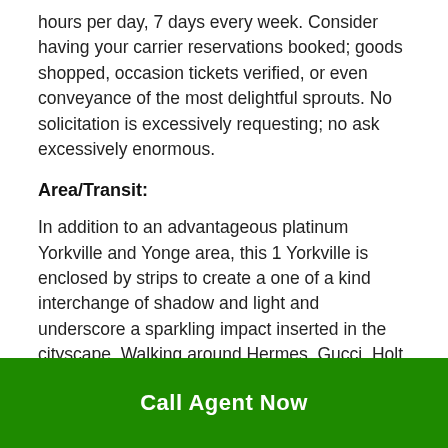hours per day, 7 days every week. Consider having your carrier reservations booked; goods shopped, occasion tickets verified, or even conveyance of the most delightful sprouts. No solicitation is excessively requesting; no ask excessively enormous.
Area/Transit:
In addition to an advantageous platinum Yorkville and Yonge area, this 1 Yorkville is enclosed by strips to create a one of a kind interchange of shadow and light and underscore a sparkling impact inserted in the cityscape. Walking around Hermes, Gucci, Holt Renfrew, supper at the Four Seasons over the road, a glass of Moet at the Hyatt's Roof Lounge – regardless of whether it's rich, chane or a determination of the
Call Agent Now